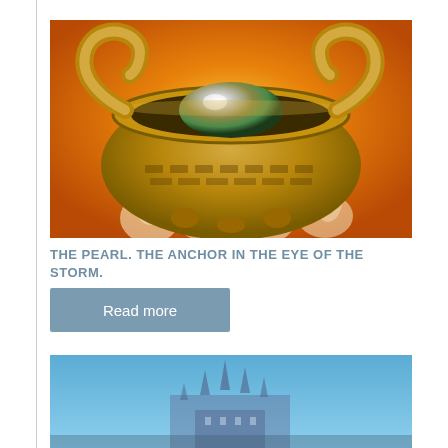[Figure (illustration): A golden cauldron with two loop handles, containing a glowing eye-like orb at the top, with smoky flames rising from the base, set against an orange glowing background]
THE PEARL. THE ANCHOR IN THE EYE OF THE STORM.
Read more
[Figure (photo): A blue-sky photograph of a castle or cathedral with spires visible on the horizon]